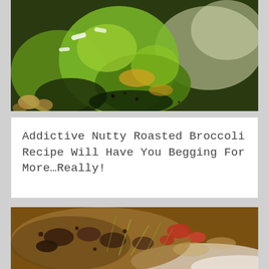[Figure (photo): Close-up photo of roasted broccoli with nutty toppings, showing green broccoli stems with charred edges, cheese shavings, and nuts on a dark surface]
Addictive Nutty Roasted Broccoli Recipe Will Have You Begging For More…Really!
[Figure (photo): Close-up photo of a salad or grain dish with mushrooms, tomatoes, sprouts, and mixed toppings on a white plate]